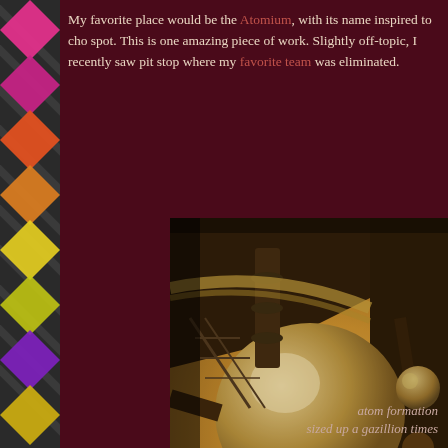[Figure (illustration): Decorative left sidebar with colorful diagonal chevron/diamond pattern in pink, magenta, orange, yellow, green, purple colors on dark gray background]
My favorite place would be the Atomium, with its name inspired to cho spot. This is one amazing piece of work. Slightly off-topic, I recently saw pit stop where my favorite team was eliminated.
[Figure (photo): Sepia-toned photograph of the Atomium structure in Brussels, taken from below looking up, showing the spherical nodes and connecting tubes against a warm golden sky with trees silhouetted at the bottom]
atom formation
sized up a gazillion times